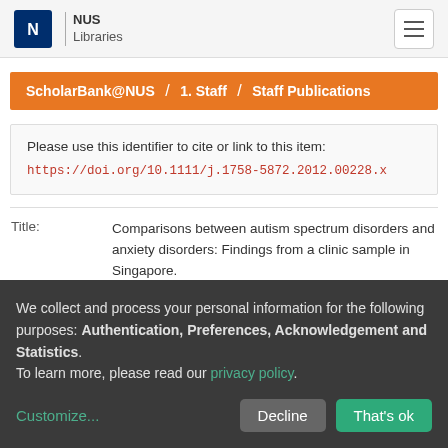NUS Libraries
ScholarBank@NUS / 1. Staff / Staff Publications
Please use this identifier to cite or link to this item:
https://doi.org/10.1111/j.1758-5872.2012.00228.x
| Field | Value |
| --- | --- |
| Title: | Comparisons between autism spectrum disorders and anxiety disorders: Findings from a clinic sample in Singapore. |
We collect and process your personal information for the following purposes: Authentication, Preferences, Acknowledgement and Statistics.
To learn more, please read our privacy policy.